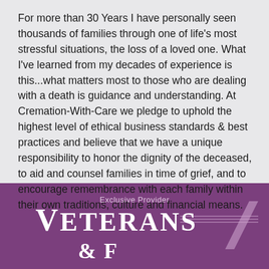For more than 30 Years I have personally seen thousands of families through one of life's most stressful situations, the loss of a loved one. What I've learned from my decades of experience is this...what matters most to those who are dealing with a death is guidance and understanding. At Cremation-With-Care we pledge to uphold the highest level of ethical business standards & best practices and believe that we have a unique responsibility to honor the dignity of the deceased, to aid and counsel families in time of grief, and to encourage remembrance with each family within their own traditions, culture and financial means.
[Figure (logo): Veterans logo with 'Exclusive Provider' text above 'VETERANS & F...' in white on purple background, with decorative lines]